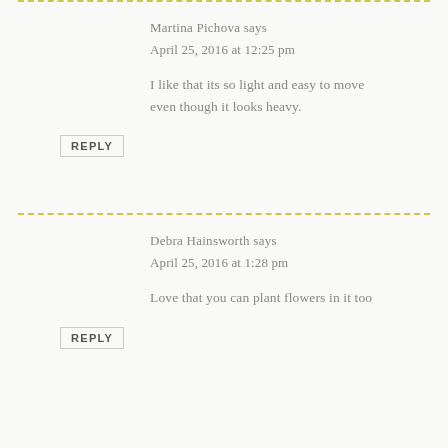Martina Pichova says
April 25, 2016 at 12:25 pm
I like that its so light and easy to move even though it looks heavy.
REPLY
Debra Hainsworth says
April 25, 2016 at 1:28 pm
Love that you can plant flowers in it too
REPLY